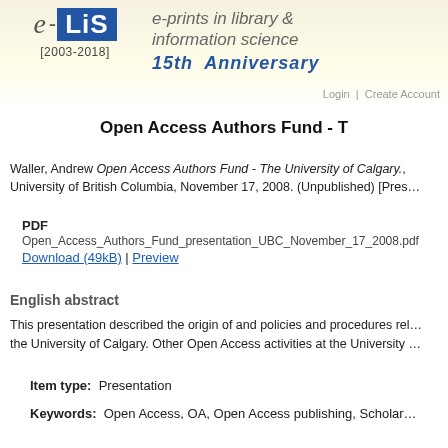[Figure (logo): E-LIS logo: e-LiS e-prints in library & information science, [2003-2018], 15th Anniversary]
Login | Create Account
Open Access Authors Fund - T
Waller, Andrew Open Access Authors Fund - The University of Calgary., University of British Columbia, November 17, 2008. (Unpublished) [Prese
PDF
Open_Access_Authors_Fund_presentation_UBC_November_17_2008.pdf
Download (49kB) | Preview
English abstract
This presentation described the origin of and policies and procedures re the University of Calgary. Other Open Access activities at the University
Item type: Presentation
Keywords: Open Access, OA, Open Access publishing, Scholar